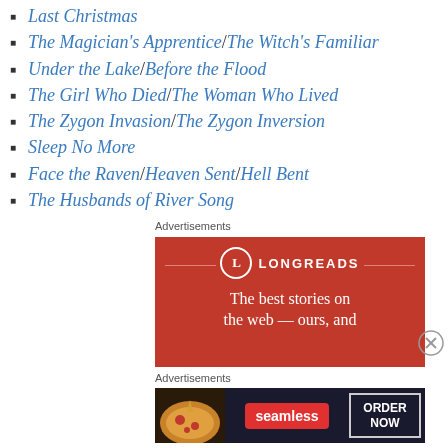Last Christmas
The Magician's Apprentice/The Witch's Familiar
Under the Lake/Before the Flood
The Girl Who Died/The Woman Who Lived
The Zygon Invasion/The Zygon Inversion
Sleep No More
Face the Raven/Heaven Sent/Hell Bent
The Husbands of River Song
Advertisements
[Figure (other): Longreads advertisement banner — red background with Longreads logo and tagline 'The best stories on the web – ours, and']
Advertisements
[Figure (other): Seamless food delivery advertisement banner with pizza image, Seamless logo, and ORDER NOW button]